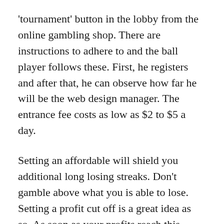'tournament' button in the lobby from the online gambling shop. There are instructions to adhere to and the ball player follows these. First, he registers and after that, he can observe how far he will be the web design manager. The entrance fee costs as low as $2 to $5 a day.
Setting an affordable will shield you additional long losing streaks. Don't gamble above what you is able to lose. Setting a profit cut off is a great idea as so. As soon as your profits reach this amount, stop betting and enjoy your profits.
Red White and Win is a classic 3-reel, single pay-line progressive superslot slot online casino from Vegas